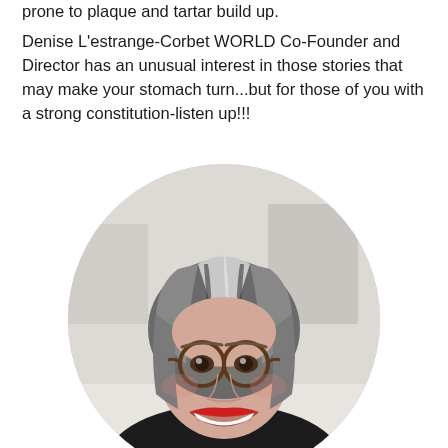prone to plaque and tartar build up.
Denise L'estrange-Corbet WORLD Co-Founder and Director has an unusual interest in those stories that may make your stomach turn...but for those of you with a strong constitution-listen up!!!
[Figure (photo): Circular cropped photo of a woman with short gray and dark streaked hair, round tortoiseshell glasses, red lipstick, and a big smile, wearing a dark top, photographed indoors.]